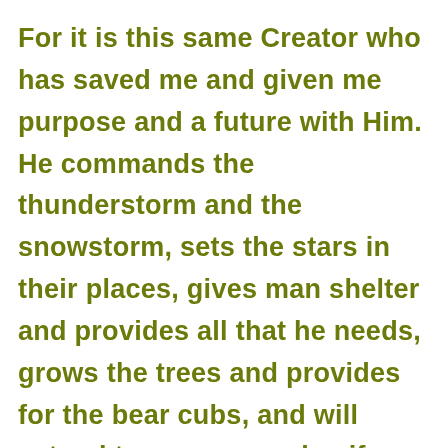For it is this same Creator who has saved me and given me purpose and a future with Him. He commands the thunderstorm and the snowstorm, sets the stars in their places, gives man shelter and provides all that he needs, grows the trees and provides for the bear cubs, and will extend to you grace also if you will acknowledge your sin and His